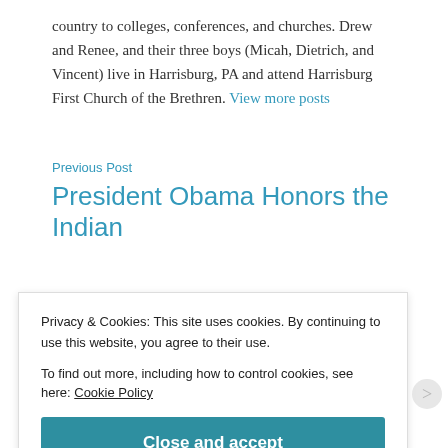country to colleges, conferences, and churches. Drew and Renee, and their three boys (Micah, Dietrich, and Vincent) live in Harrisburg, PA and attend Harrisburg First Church of the Brethren. View more posts
Previous Post
President Obama Honors the Indian
Privacy & Cookies: This site uses cookies. By continuing to use this website, you agree to their use.
To find out more, including how to control cookies, see here: Cookie Policy
Close and accept